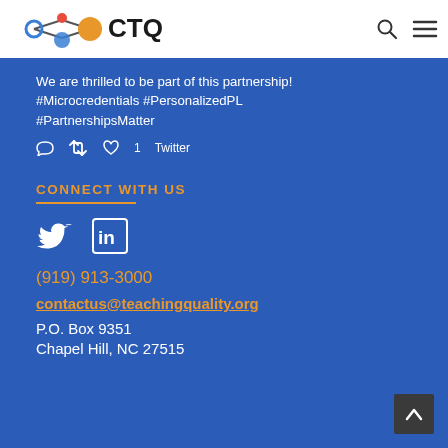[Figure (logo): CTQ logo with colored nodes and connecting lines, text reads CTQ]
We are thrilled to be part of this partnership! #Microcredentials #PersonalizedPL #PartnershipsMatter
1  Twitter
CONNECT WITH US
[Figure (infographic): Twitter bird icon and LinkedIn 'in' icon in white]
(919) 913-3000
contactus@teachingquality.org
P.O. Box 9351
Chapel Hill, NC 27515